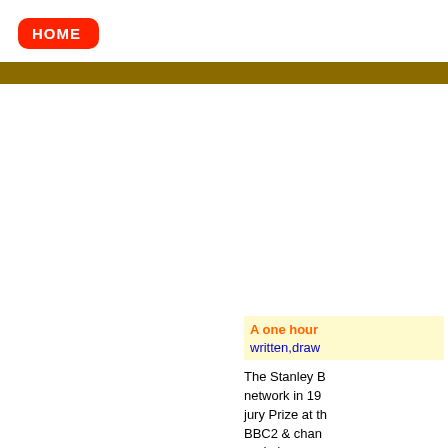HOME
A one hour written,draw
The Stanley B network in 19 jury Prize at th BBC2 & chan or dvd In 1994 howe important mas taken from tha